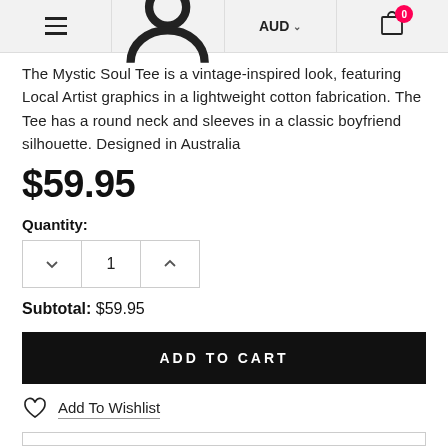Navigation bar with menu, user, AUD currency selector, and cart (0 items)
The Mystic Soul Tee is a vintage-inspired look, featuring Local Artist graphics in a lightweight cotton fabrication. The Tee has a round neck and sleeves in a classic boyfriend silhouette. Designed in Australia
$59.95
Quantity:
1
Subtotal: $59.95
ADD TO CART
Add To Wishlist